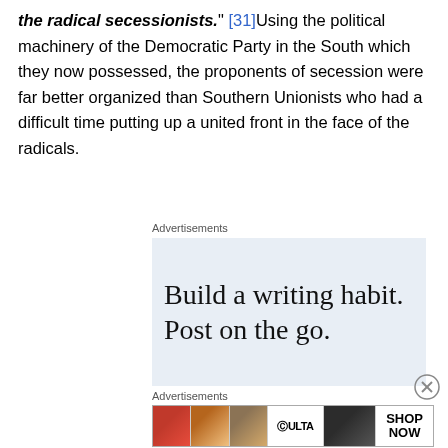the radical secessionists." [31]Using the political machinery of the Democratic Party in the South which they now possessed, the proponents of secession were far better organized than Southern Unionists who had a difficult time putting up a united front in the face of the radicals.
Advertisements
[Figure (other): Advertisement: 'Build a writing habit. Post on the go.' on light blue background]
[Figure (other): Close button (X) for advertisement]
Advertisements
[Figure (other): Ulta Beauty advertisement banner with makeup images and 'SHOP NOW' call to action]